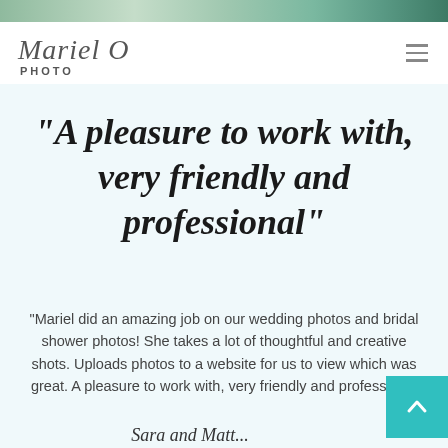[Figure (photo): Top banner strip showing a wedding/outdoor photo scene with greenery]
Mariel O PHOTO
"A pleasure to work with, very friendly and professional"
"Mariel did an amazing job on our wedding photos and bridal shower photos! She takes a lot of thoughtful and creative shots. Uploads photos to a website for us to view which was great. A pleasure to work with, very friendly and professional
Sara and Matt...